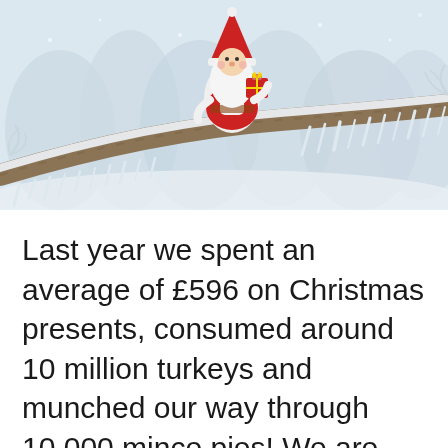[Figure (photo): A winter snow scene showing frost-covered branches with a small decorative Christmas gnome/tomte figurine wearing a red hat and holding a gift, set against a blurred snowy forest background.]
Last year we spent an average of £596 on Christmas presents, consumed around 10 million turkeys and munched our way through 10,000 mince pies! We are obsessed with the festive period